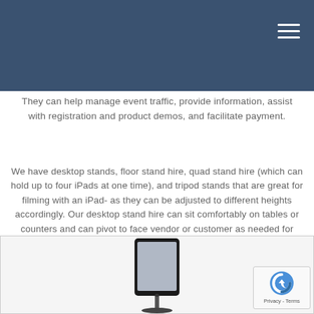They can help manage event traffic, provide information, assist with registration and product demos, and facilitate payment.
We have desktop stands, floor stand hire, quad stand hire (which can hold up to four iPads at one time), and tripod stands that are great for filming with an iPad- as they can be adjusted to different heights accordingly. Our desktop stand hire can sit comfortably on tables or counters and can pivot to face vendor or customer as needed for transactions.
[Figure (photo): Photo of an iPad mounted on a desktop stand, shown from the front, with a black stand base visible at the bottom.]